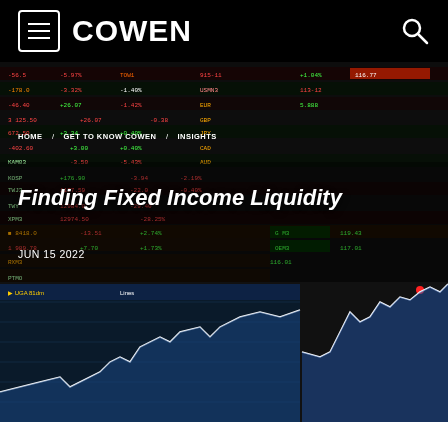COWEN
[Figure (screenshot): Financial trading screen background showing red and green stock ticker data with price movements, overlaid with line charts showing market data]
HOME / GET TO KNOW COWEN / INSIGHTS
Finding Fixed Income Liquidity
JUN 15 2022